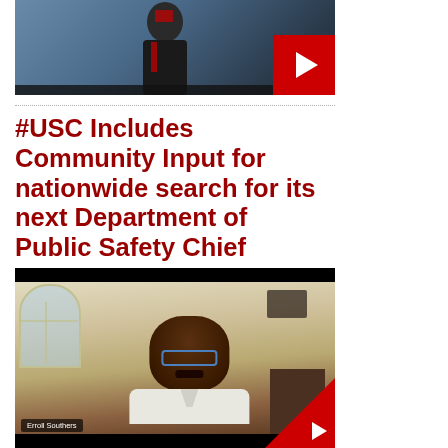[Figure (screenshot): Video thumbnail showing a man in a suit with an American flag, with a red YouTube play button in the bottom-right corner]
#USC Includes Community Input for nationwide search for its next Department of Public Safety Chief
[Figure (screenshot): Video still of Erroll Southers speaking via video call, in a room with an arched window, with a red YouTube play button triangle visible in the bottom-right corner. Caption reads 'Erroll Southers'.]